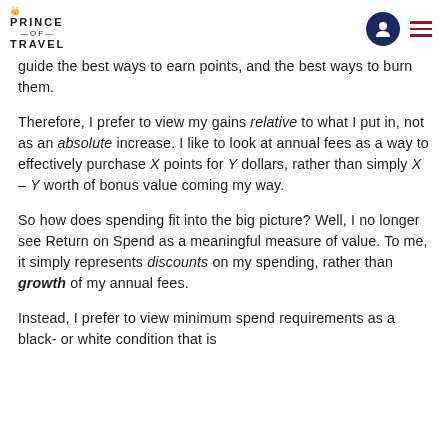PRINCE OF TRAVEL
guide the best ways to earn points, and the best ways to burn them.
Therefore, I prefer to view my gains relative to what I put in, not as an absolute increase. I like to look at annual fees as a way to effectively purchase X points for Y dollars, rather than simply X – Y worth of bonus value coming my way.
So how does spending fit into the big picture? Well, I no longer see Return on Spend as a meaningful measure of value. To me, it simply represents discounts on my spending, rather than growth of my annual fees.
Instead, I prefer to view minimum spend requirements as a black- or white condition that is